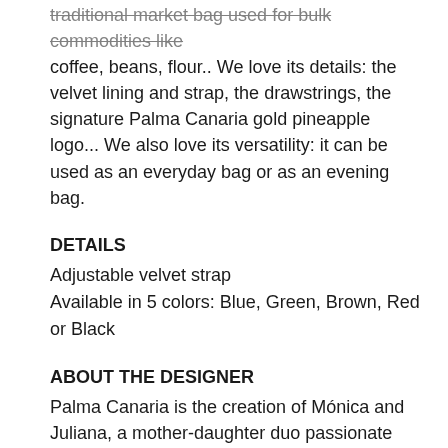traditional market bag used for bulk commodities like coffee, beans, flour.. We love its details: the velvet lining and strap, the drawstrings, the signature Palma Canaria gold pineapple logo... We also love its versatility: it can be used as an everyday bag or as an evening bag.
DETAILS
Adjustable velvet strap
Available in 5 colors: Blue, Green, Brown, Red or Black
ABOUT THE DESIGNER
Palma Canaria is the creation of Mónica and Juliana, a mother-daughter duo passionate about design, fashion and handmade craftsmanship. They shape their creative vision around empowering brand values: independence, freedom and strong ethics.
All the designs are 100% handwoven by independent artisans in Colombia by using the finest natural fibers. These talented craftsmen manipulate the fibers with a unique know-how and an expert technique transmitted